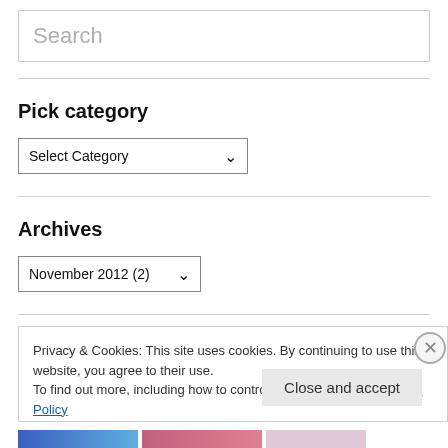Search
Pick category
Select Category
Archives
November 2012 (2)
Privacy & Cookies: This site uses cookies. By continuing to use this website, you agree to their use.
To find out more, including how to control cookies, see here: Cookie Policy
Close and accept